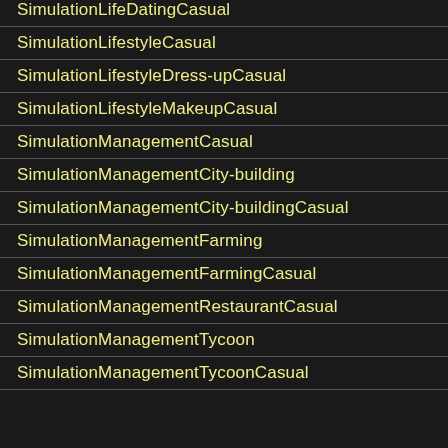SimulationLifeDatingCasual
SimulationLifestyleCasual
SimulationLifestyleDress-upCasual
SimulationLifestyleMakeupCasual
SimulationManagementCasual
SimulationManagementCity-building
SimulationManagementCity-buildingCasual
SimulationManagementFarming
SimulationManagementFarmingCasual
SimulationManagementRestaurantCasual
SimulationManagementTycoon
SimulationManagementTycoonCasual